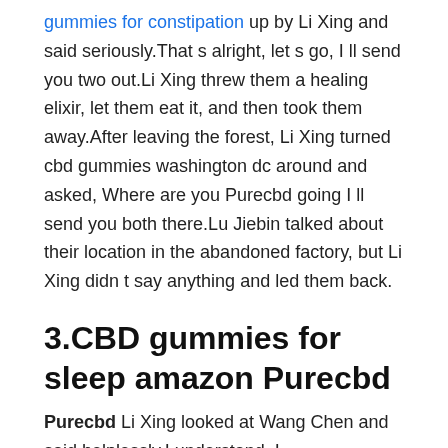gummies for constipation up by Li Xing and said seriously.That s alright, let s go, I ll send you two out.Li Xing threw them a healing elixir, let them eat it, and then took them away.After leaving the forest, Li Xing turned cbd gummies washington dc around and asked, Where are you Purecbd going I ll send you both there.Lu Jiebin talked about their location in the abandoned factory, but Li Xing didn t say anything and led them back.
3.CBD gummies for sleep amazon Purecbd
Purecbd Li Xing looked at Wang Chen and said helplessly.I understand, I understand.The corners of Wang Chen s mouth were full of smiles that men could understand, and Li Xing pointed his middle finger at him speechlessly.Stop gummy bear recipe CBD Purecbd talking about this, how is your cultivation After putting away the things, Li Xing looked at Wang Chen and asked.Hey, I m stuck in a bottleneck.It s estimated to take a while, so I planned to go out to replenish and come Purecbd back.Although it may delay